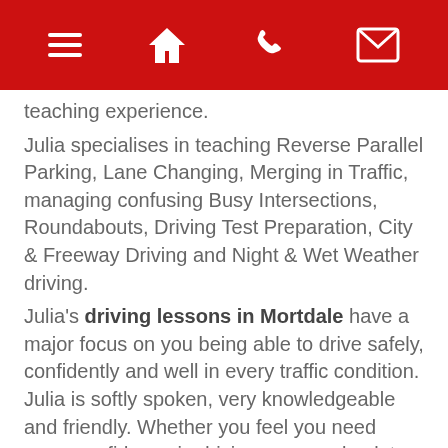[navigation icons: menu, home, phone, email]
teaching experience.
Julia specialises in teaching Reverse Parallel Parking, Lane Changing, Merging in Traffic, managing confusing Busy Intersections, Roundabouts, Driving Test Preparation, City & Freeway Driving and Night & Wet Weather driving.
Julia's driving lessons in Mortdale have a major focus on you being able to drive safely, confidently and well in every traffic condition. Julia is softly spoken, very knowledgeable and friendly. Whether you feel you need more confidence in driving, are an absolute complete learner/beginner or just need polishing